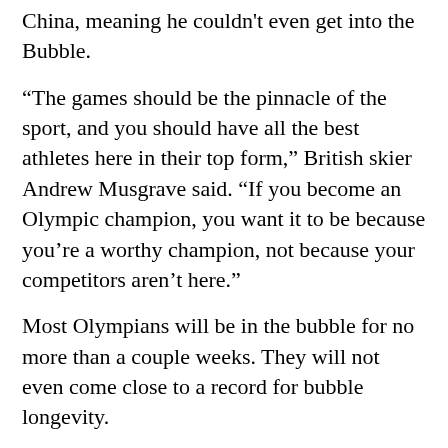China, meaning he couldn't even get into the Bubble.
“The games should be the pinnacle of the sport, and you should have all the best athletes here in their top form,” British skier Andrew Musgrave said. “If you become an Olympic champion, you want it to be because you’re a worthy champion, not because your competitors aren’t here.”
Most Olympians will be in the bubble for no more than a couple weeks. They will not even come close to a record for bubble longevity.
When the Los Angeles Lakers and Miami Heat advanced to the 2020 NBA Finals at that league’s restart bubble at Walt Disney World near Orlando, Florida, they both logged more than 90 days separated from the outside world. No fans, no family, just FaceTime and multiple Amazon deliveries a day (some players bought everything from furniture to wine refrigerators for their NBA bubble stay, most of those purchases being left behind).